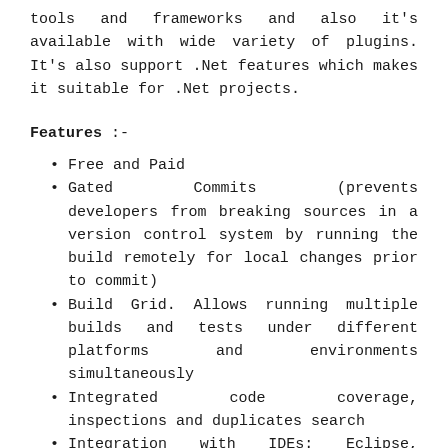tools and frameworks and also it's available with wide variety of plugins. It's also support .Net features which makes it suitable for .Net projects.
Features :-
Free and Paid
Gated Commits (prevents developers from breaking sources in a version control system by running the build remotely for local changes prior to commit)
Build Grid. Allows running multiple builds and tests under different platforms and environments simultaneously
Integrated code coverage, inspections and duplicates search
Integration with IDEs: Eclipse, IntelliJ